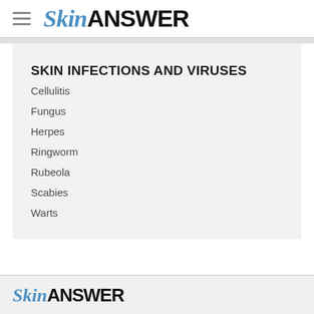SkinANSWER
SKIN INFECTIONS AND VIRUSES
Cellulitis
Fungus
Herpes
Ringworm
Rubeola
Scabies
Warts
SkinANSWER